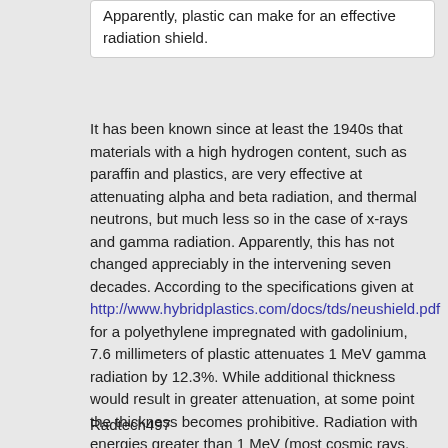Apparently, plastic can make for an effective radiation shield.
It has been known since at least the 1940s that materials with a high hydrogen content, such as paraffin and plastics, are very effective at attenuating alpha and beta radiation, and thermal neutrons, but much less so in the case of x-rays and gamma radiation. Apparently, this has not changed appreciably in the intervening seven decades. According to the specifications given at http://www.hybridplastics.com/docs/tds/neushield.pdf for a polyethylene impregnated with gadolinium, 7.6 millimeters of plastic attenuates 1 MeV gamma radiation by 12.3%. While additional thickness would result in greater attenuation, at some point the thickness becomes prohibitive. Radiation with energies greater than 1 MeV (most cosmic rays, for example) will be attenuated even less. So, in general, while plastics can make effective radiation shields, likely design trade-offs will limit their usability in that regard.
Radtech497